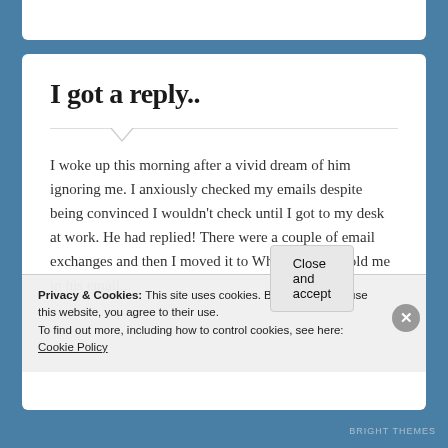I got a reply..
I woke up this morning after a vivid dream of him ignoring me. I anxiously checked my emails despite being convinced I wouldn't check until I got to my desk at work. He had replied! There were a couple of email exchanges and then I moved it to WhatsApp. He told me in his email...
Privacy & Cookies: This site uses cookies. By continuing to use this website, you agree to their use. To find out more, including how to control cookies, see here: Cookie Policy
Close and accept